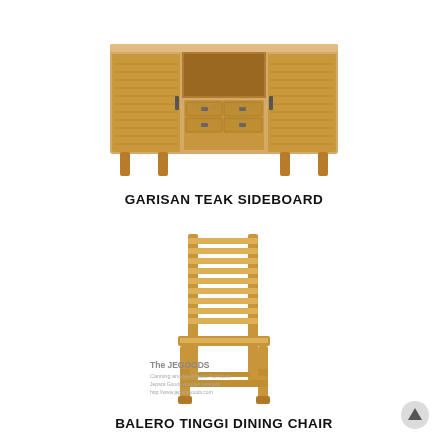[Figure (photo): Photo of a teak wood sideboard with slatted door panels, open center shelf, and multiple drawers. Light honey-colored teak finish. Watermark 'The JEGOODS' visible on the image.]
GARISAN TEAK SIDEBOARD
[Figure (photo): Photo of a tall teak dining chair with horizontal slatted back and slatted seat. Light honey-colored teak finish. The JEGOODS branding logo visible in lower-left of image area.]
BALERO TINGGI DINING CHAIR